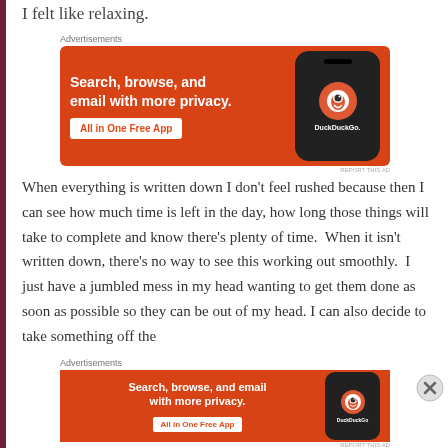I felt like relaxing.
[Figure (other): DuckDuckGo advertisement banner: 'Search, browse, and email with more privacy. All in One Free App' with phone image showing DuckDuckGo logo]
When everything is written down I don't feel rushed because then I can see how much time is left in the day, how long those things will take to complete and know there's plenty of time.  When it isn't written down, there's no way to see this working out smoothly.  I just have a jumbled mess in my head wanting to get them done as soon as possible so they can be out of my head. I can also decide to take something off the
[Figure (other): DuckDuckGo advertisement banner (smaller): 'Search, browse, and email with more privacy. All in One Free App']